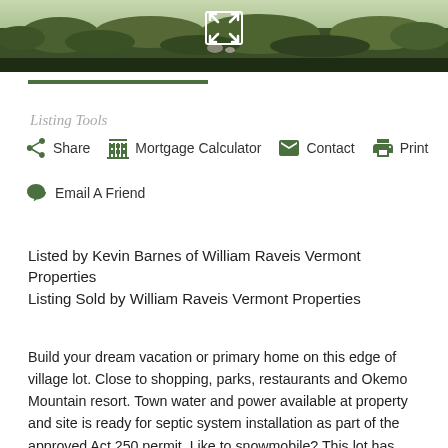[Figure (photo): Outdoor landscape photo showing grassy field and shrubs, with an expand/resize icon overlay in the center top area]
Listing Tools
Share
Mortgage Calculator
Contact
Print
Email A Friend
Listed by Kevin Barnes of William Raveis Vermont Properties
Listing Sold by William Raveis Vermont Properties
Build your dream vacation or primary home on this edge of village lot. Close to shopping, parks, restaurants and Okemo Mountain resort. Town water and power available at property and site is ready for septic system installation as part of the approved Act 250 permit. Like to snowmobile? This lot has direct access to VAST snowmobile trails. No more trailering. Driveway roughed in and home site established. Bring your builder or we can connect you with one of the quality builders in our area. This lot is priced below